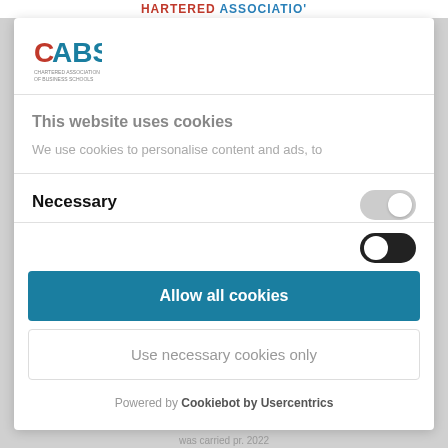HARTERED ASSOCIATIO'
[Figure (logo): CABS logo - red and blue text with small subtext]
This website uses cookies
We use cookies to personalise content and ads, to
Necessary
Allow all cookies
Use necessary cookies only
Powered by Cookiebot by Usercentrics